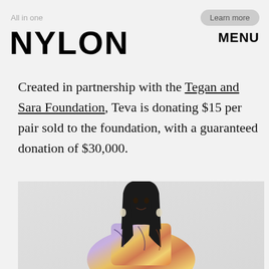NYLON  MENU
Created in partnership with the Tegan and Sara Foundation, Teva is donating $15 per pair sold to the foundation, with a guaranteed donation of $30,000.
[Figure (photo): Woman wearing a colorful rainbow animal-print dress/top, with long dark hair and drop earrings, photographed against a light gray background.]